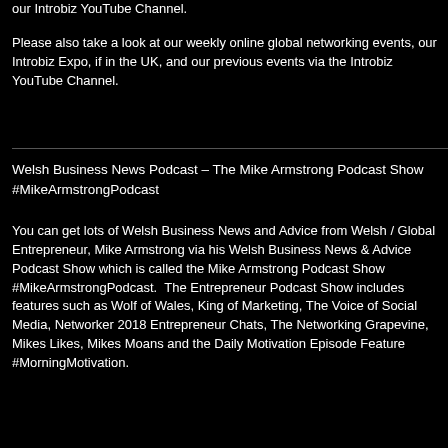our Introbiz YouTube Channel.
Please also take a look at our weekly online global networking events, our Introbiz Expo, if in the UK, and our previous events via the Introbiz YouTube Channel.
Welsh Business News Podcast – The Mike Armstrong Podcast Show #MikeArmstrongPodcast
You can get lots of Welsh Business News and Advice from Welsh / Global Entrepreneur, Mike Armstrong via his Welsh Business News & Advice Podcast Show which is called the Mike Armstrong Podcast Show #MikeArmstrongPodcast.  The Entrepreneur Podcast Show includes features such as Wolf of Wales, King of Marketing, The Voice of Social Media, Networker 2018 Entrepreneur Chats, The Networking Grapevine, Mikes Likes, Mikes Moans and the Daily Motivation Episode Feature #MorningMotivation.